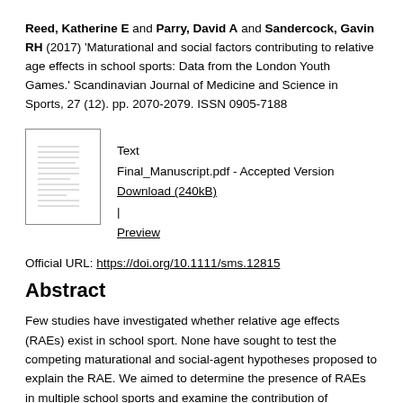Reed, Katherine E and Parry, David A and Sandercock, Gavin RH (2017) 'Maturational and social factors contributing to relative age effects in school sports: Data from the London Youth Games.' Scandinavian Journal of Medicine and Science in Sports, 27 (12). pp. 2070-2079. ISSN 0905-7188
[Figure (other): Thumbnail preview of Final_Manuscript.pdf document]
Text
Final_Manuscript.pdf - Accepted Version
Download (240kB) | Preview
Official URL: https://doi.org/10.1111/sms.12815
Abstract
Few studies have investigated whether relative age effects (RAEs) exist in school sport. None have sought to test the competing maturational and social-agent hypotheses proposed to explain the RAE. We aimed to determine the presence of RAEs in multiple school sports and examine the contribution of maturational and social factors in commonplace school sports. We analyzed birth dates of n=10645 competitors (11-18